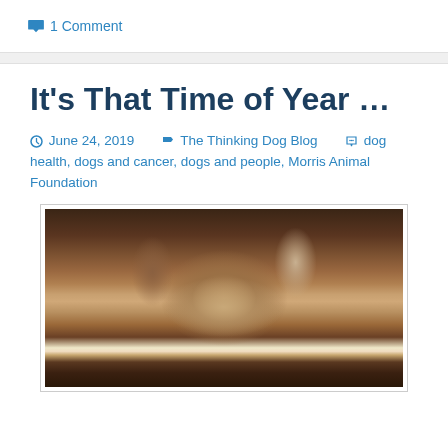1 Comment
It's That Time of Year …
June 24, 2019   The Thinking Dog Blog   dog health, dogs and cancer, dogs and people, Morris Animal Foundation
[Figure (photo): A dog viewed from behind/above, showing the back of its head and ears, with light brown/golden fur, sitting near a dark surface.]